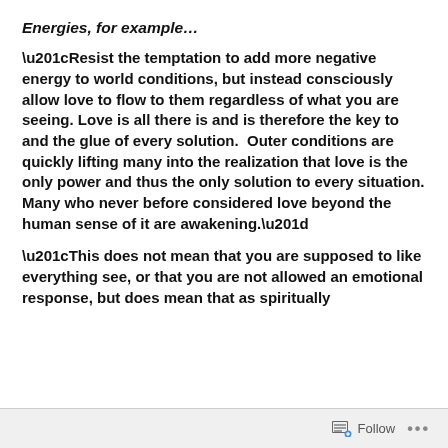Energies, for example…
“Resist the temptation to add more negative energy to world conditions, but instead consciously allow love to flow to them regardless of what you are seeing. Love is all there is and is therefore the key to and the glue of every solution.  Outer conditions are quickly lifting many into the realization that love is the only power and thus the only solution to every situation. Many who never before considered love beyond the human sense of it are awakening.”
“This does not mean that you are supposed to like everything see, or that you are not allowed an emotional response, but does mean that as spiritually
Follow  …